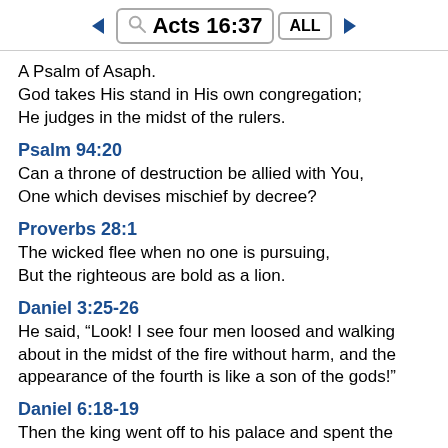Acts 16:37
A Psalm of Asaph.
God takes His stand in His own congregation;
He judges in the midst of the rulers.
Psalm 94:20
Can a throne of destruction be allied with You,
One which devises mischief by decree?
Proverbs 28:1
The wicked flee when no one is pursuing,
But the righteous are bold as a lion.
Daniel 3:25-26
He said, “Look! I see four men loosed and walking about in the midst of the fire without harm, and the appearance of the fourth is like a son of the gods!”
Daniel 6:18-19
Then the king went off to his palace and spent the night fasting, and no entertainment was brought before him;